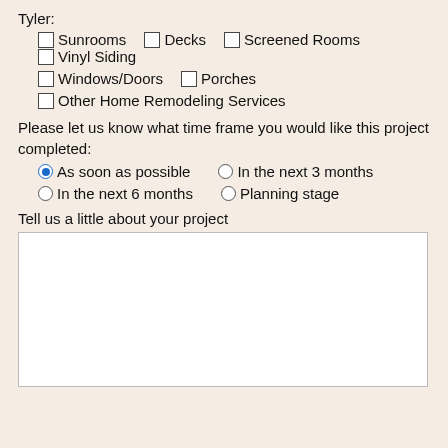Tyler:
Sunrooms  Decks  Screened Rooms  Vinyl Siding
Windows/Doors  Porches
Other Home Remodeling Services
Please let us know what time frame you would like this project completed:
As soon as possible (selected)  In the next 3 months
In the next 6 months  Planning stage
Tell us a little about your project
[Figure (other): Empty text area input box]